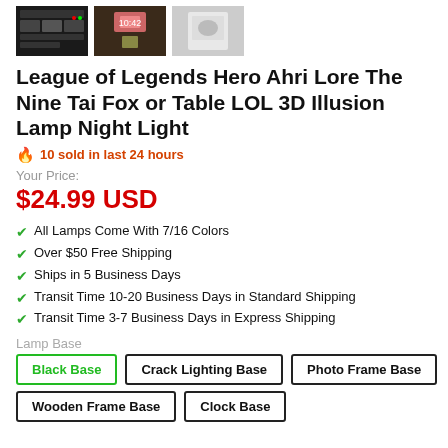[Figure (photo): Three product thumbnail images shown at top of product listing page]
League of Legends Hero Ahri Lore The Nine Tai Fox or Table LOL 3D Illusion Lamp Night Light
🔥 10 sold in last 24 hours
Your Price:
$24.99 USD
All Lamps Come With 7/16 Colors
Over $50 Free Shipping
Ships in 5 Business Days
Transit Time 10-20 Business Days in Standard Shipping
Transit Time 3-7 Business Days in Express Shipping
Lamp Base
Black Base | Crack Lighting Base | Photo Frame Base | Wooden Frame Base | Clock Base